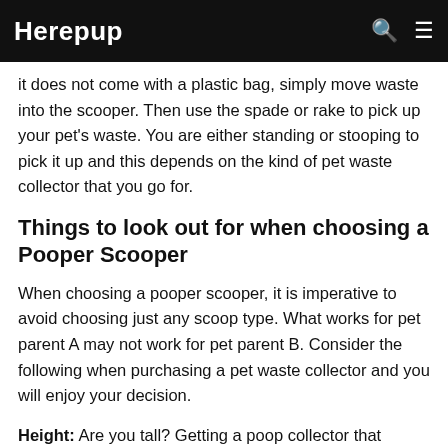Herepup
it does not come with a plastic bag, simply move waste into the scooper. Then use the spade or rake to pick up your pet's waste. You are either standing or stooping to pick it up and this depends on the kind of pet waste collector that you go for.
Things to look out for when choosing a Pooper Scooper
When choosing a pooper scooper, it is imperative to avoid choosing just any scoop type. What works for pet parent A may not work for pet parent B. Consider the following when purchasing a pet waste collector and you will enjoy your decision.
Height: Are you tall? Getting a poop collector that makes you stoop will begin to give you waist pain in the long